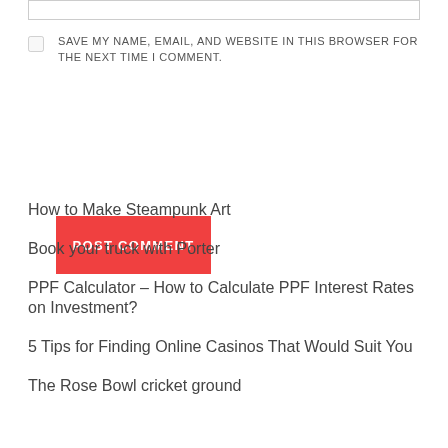[input field]
SAVE MY NAME, EMAIL, AND WEBSITE IN THIS BROWSER FOR THE NEXT TIME I COMMENT.
POST COMMENT
How to Make Steampunk Art
Book your truck with Porter
PPF Calculator – How to Calculate PPF Interest Rates on Investment?
5 Tips for Finding Online Casinos That Would Suit You
The Rose Bowl cricket ground